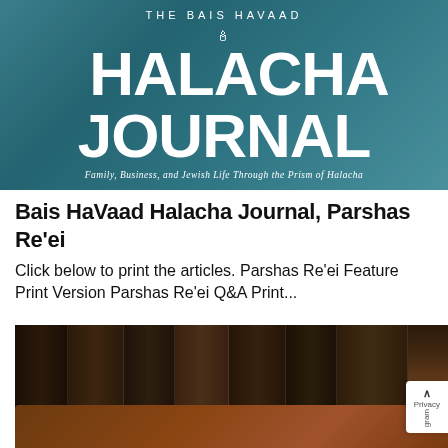[Figure (photo): The Bais Havaad Halacha Journal logo banner with teal/blue background. Large white text reads 'THE BAIS HAVAAD' at top, then 'HALACHA' and 'JOURNAL' in very large bold white letters with a torch/flame icon, with italic subtitle 'Family, Business, and Jewish Life Through the Prism of Halacha']
Bais HaVaad Halacha Journal, Parshas Re'ei
Click below to print the articles. Parshas Re'ei Feature Print Version Parshas Re'ei Q&A Print...
[Figure (photo): Photo of Jewish religious law books (seforim) with Hebrew text on their spines arranged on a shelf, with a wooden gavel in the foreground, suggesting a rabbinical court setting. A partial Privacy/Telegram badge is visible in the bottom right corner.]